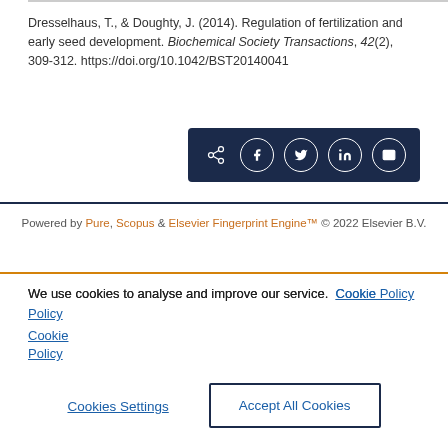Dresselhaus, T., & Doughty, J. (2014). Regulation of fertilization and early seed development. Biochemical Society Transactions, 42(2), 309-312. https://doi.org/10.1042/BST20140041
[Figure (other): Social sharing button bar with share, Facebook, Twitter, LinkedIn, and email icons on dark navy background]
Powered by Pure, Scopus & Elsevier Fingerprint Engine™ © 2022 Elsevier B.V.
We use cookies to analyse and improve our service. Cookie Policy
Cookies Settings
Accept All Cookies